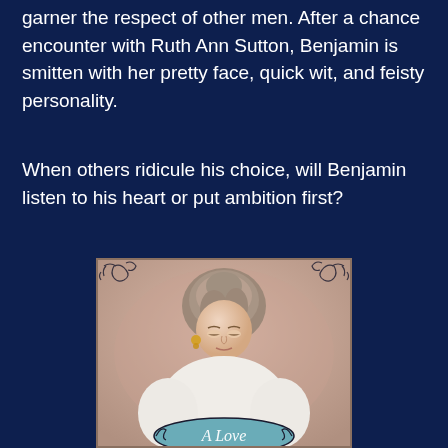garner the respect of other men. After a chance encounter with Ruth Ann Sutton, Benjamin is smitten with her pretty face, quick wit, and feisty personality.
When others ridicule his choice, will Benjamin listen to his heart or put ambition first?
[Figure (illustration): Book cover illustration showing a Victorian-era woman with upswept hair looking downward, wearing a white dress, with decorative scrollwork in the corners and a title banner reading 'A Love' at the bottom in script font.]